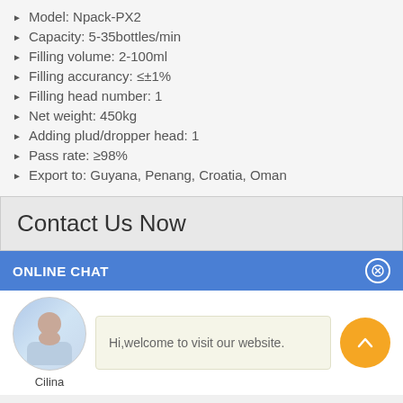Model: Npack-PX2
Capacity: 5-35bottles/min
Filling volume: 2-100ml
Filling accurancy: ≤±1%
Filling head number: 1
Net weight: 450kg
Adding plud/dropper head: 1
Pass rate: ≥98%
Export to: Guyana, Penang, Croatia, Oman
Contact Us Now
ONLINE CHAT
Hi,welcome to visit our website.
Cilina